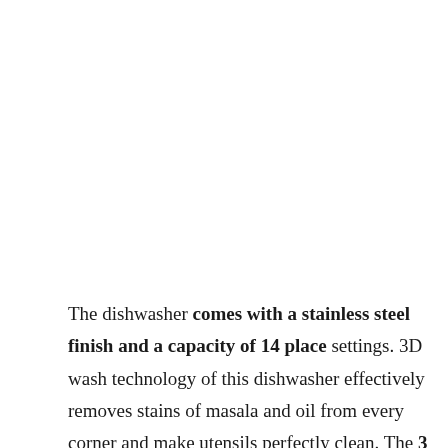The dishwasher comes with a stainless steel finish and a capacity of 14 place settings. 3D wash technology of this dishwasher effectively removes stains of masala and oil from every corner and make utensils perfectly clean. The 3 spray arms ensure effortless cleaning and